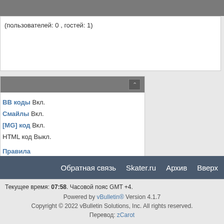(пользователей: 0 , гостей: 1)
BB коды Вкл.
Смайлы Вкл.
[IMG] код Вкл.
HTML код Выкл.
Правила форума
Обратная связь   Skater.ru   Архив   Вверх
Текущее время: 07:58. Часовой пояс GMT +4.
Powered by vBulletin® Version 4.1.7
Copyright © 2022 vBulletin Solutions, Inc. All rights reserved.
Перевод: zCarot